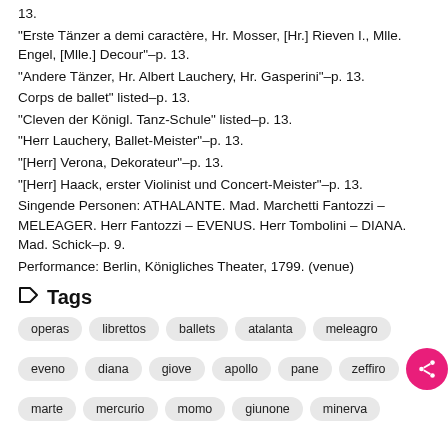13.
"Erste Tänzer a demi caractère, Hr. Mosser, [Hr.] Rieven I., Mlle. Engel, [Mlle.] Decour"–p. 13.
"Andere Tänzer, Hr. Albert Lauchery, Hr. Gasperini"–p. 13.
Corps de ballet" listed–p. 13.
"Cleven der Königl. Tanz-Schule" listed–p. 13.
"Herr Lauchery, Ballet-Meister"–p. 13.
"[Herr] Verona, Dekorateur"–p. 13.
"[Herr] Haack, erster Violinist und Concert-Meister"–p. 13.
Singende Personen: ATHALANTE. Mad. Marchetti Fantozzi – MELEAGER. Herr Fantozzi – EVENUS. Herr Tombolini – DIANA. Mad. Schick–p. 9.
Performance: Berlin, Königliches Theater, 1799. (venue)
Tags
operas
librettos
ballets
atalanta
meleagro
eveno
diana
giove
apollo
pane
zeffiro
marte
mercurio
momo
giunone
minerva